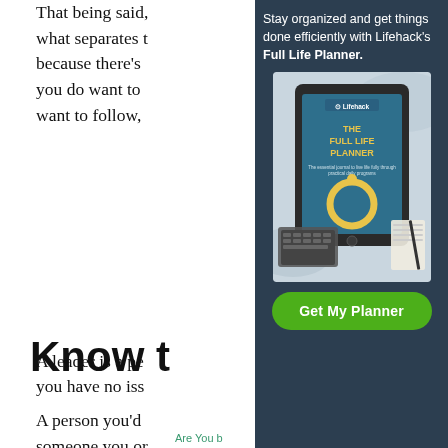That being said, what separates ... because there's ... you do want to ... want to follow,
Know t
A person you'd ... someone you or ... walking down t ... head towards th ... brand.
A leader is a pe ... you have no iss ...
[Figure (infographic): Dark navy overlay panel with Lifehack Full Life Planner advertisement. Contains promotional text 'Stay organized and get things done efficiently with Lifehack's Full Life Planner.' followed by an image of a tablet displaying 'THE FULL LIFE PLANNER' book cover with Lifehack logo, gold circular icon, subtitle text, and a keyboard/notebook in background. Below is a green rounded 'Get My Planner' button.]
Are You ...